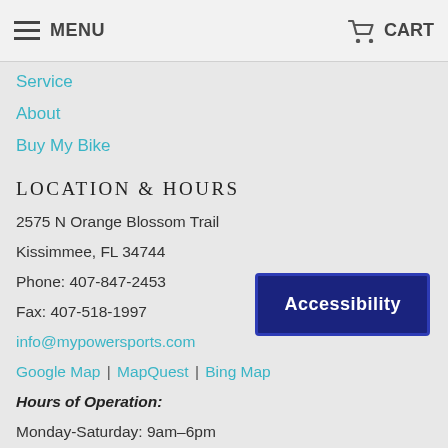MENU | CART
Service
About
Buy My Bike
LOCATION & HOURS
2575 N Orange Blossom Trail
Kissimmee, FL 34744
Phone: 407-847-2453
Fax: 407-518-1997
info@mypowersports.com
Google Map | MapQuest | Bing Map
Hours of Operation:
Monday-Saturday: 9am-6pm
[Figure (other): Accessibility button overlay]
NEWS & UPDATES
Stay up to date with our news and promotions